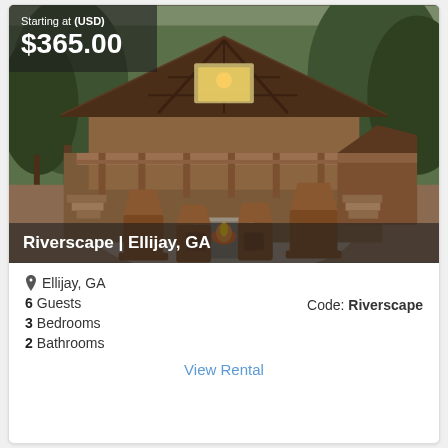[Figure (photo): Exterior photo of a large log cabin rental called Riverscape in Ellijay, GA. The cabin features exposed wood beams, a large deck, and an outdoor stone fire pit surrounded by Adirondack chairs. Price overlay shows 'Starting at (USD) $365.00' in top-left. Property name 'Riverscape | Ellijay, GA' shown in bottom overlay bar.]
Ellijay, GA
6 Guests    Code: Riverscape
3 Bedrooms
2 Bathrooms
View Rental